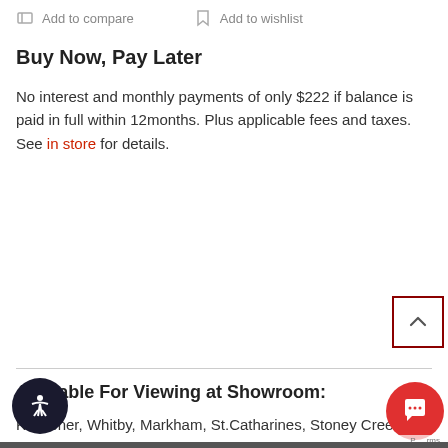Add to compare   Add to wishlist
Buy Now, Pay Later
No interest and monthly payments of only $222 if balance is paid in full within 12months. Plus applicable fees and taxes. See in store for details.
Available For Viewing at Showroom:
Kitchener, Whitby, Markham, St.Catharines, Stoney Creek